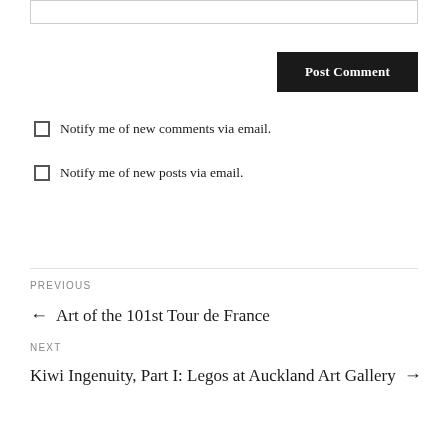[Figure (screenshot): Empty text input box with a light grey border at the top of the page]
Post Comment
Notify me of new comments via email.
Notify me of new posts via email.
PREVIOUS
← Art of the 101st Tour de France
NEXT
Kiwi Ingenuity, Part I: Legos at Auckland Art Gallery →